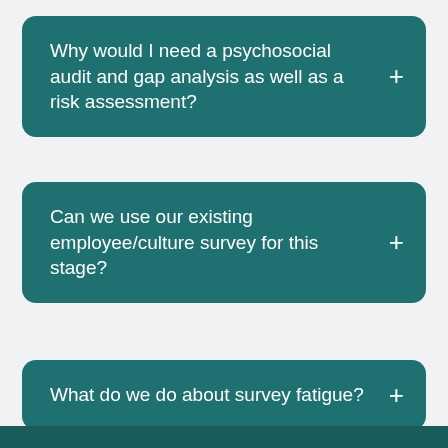Why would I need a psychosocial audit and gap analysis as well as a risk assessment?
Can we use our existing employee/culture survey for this stage?
What do we do about survey fatigue?